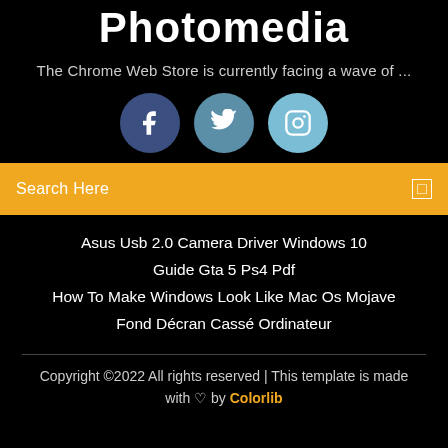Photomedia
The Chrome Web Store is currently facing a wave of ...
[Figure (illustration): Three social media icon circles: Facebook (dark blue), Twitter (medium blue), Instagram (light blue)]
Search Here
Asus Usb 2.0 Camera Driver Windows 10
Guide Gta 5 Ps4 Pdf
How To Make Windows Look Like Mac Os Mojave
Fond Décran Cassé Ordinateur
Copyright ©2022 All rights reserved | This template is made with ♡ by Colorlib